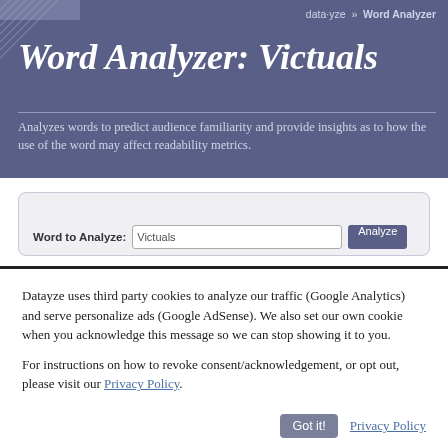data·yze  »  Word Analyzer
Word Analyzer: Victuals
Analyzes words to predict audience familiarity and provide insights as to how the use of the word may affect readability metrics.
Word to Analyze: Victuals  [Analyze]
Datayze uses third party cookies to analyze our traffic (Google Analytics) and serve personalize ads (Google AdSense). We also set our own cookie when you acknowledge this message so we can stop showing it to you.
For instructions on how to revoke consent/acknowledgement, or opt out, please visit our Privacy Policy.
Got it!  Privacy Policy